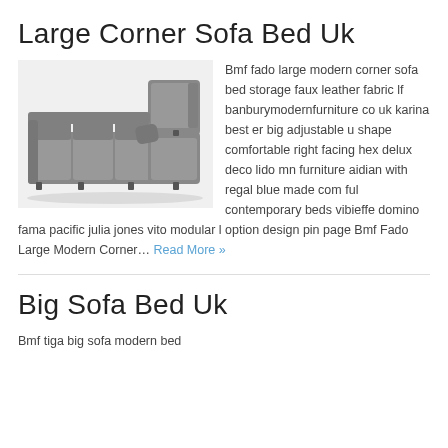Large Corner Sofa Bed Uk
[Figure (photo): A large grey L-shaped corner sofa bed]
Bmf fado large modern corner sofa bed storage faux leather fabric lf banburymodernfurniture co uk karina best er big adjustable u shape comfortable right facing hex delux deco lido mn furniture aidian with regal blue made com ful contemporary beds vibieffe domino fama pacific julia jones vito modular l option design pin page Bmf Fado Large Modern Corner… Read More »
Big Sofa Bed Uk
Bmf tiga big sofa modern bed